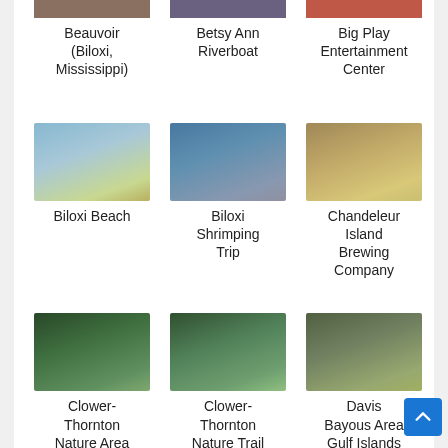[Figure (photo): Partial images of Beauvoir, Betsy Ann Riverboat, and Big Play Entertainment Center at the top of the page]
Beauvoir (Biloxi, Mississippi)
Betsy Ann Riverboat
Big Play Entertainment Center
[Figure (photo): Photo of Biloxi Beach with lighthouse and cyclist]
Biloxi Beach
[Figure (photo): Photo of Biloxi Shrimping Trip boat on water]
Biloxi Shrimping Trip
[Figure (photo): Photo of Chandeleur Island Brewing Company building]
Chandeleur Island Brewing Company
[Figure (photo): Photo of Clower-Thornton Nature Area boardwalk]
Clower-Thornton Nature Area
[Figure (photo): Photo of Clower-Thornton Nature Trail boardwalk]
Clower-Thornton Nature Trail
[Figure (photo): Photo of Davis Bayous Area Gulf Islands National Seashore]
Davis Bayous Area Gulf Islands National Seashore